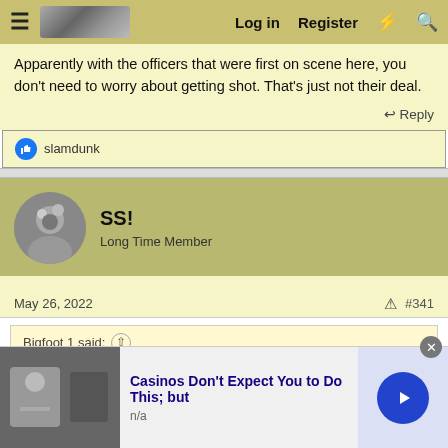Log in  Register
Apparently with the officers that were first on scene here, you don't need to worry about getting shot. That's just not their deal.
Reply
👍 slamdunk
SS!
Long Time Member
May 26, 2022   #341
Bigfoot 1 said: ↑
So it took a coward with an AR-15 and extra magazines 40 minutes t...
[Figure (screenshot): Advertisement overlay: Casinos Don't Expect You to Do This; but - n/a, with a clickthrough arrow button]